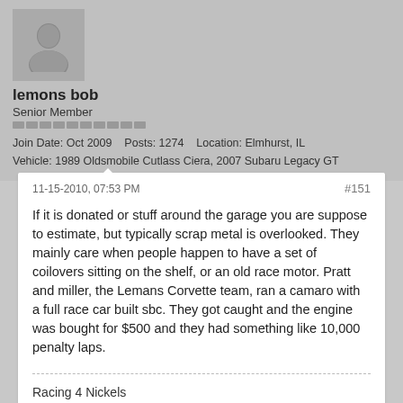[Figure (illustration): Generic user avatar icon showing a silhouette of a person in gray tones]
lemons bob
Senior Member
Join Date: Oct 2009    Posts: 1274    Location: Elmhurst, IL
Vehicle: 1989 Oldsmobile Cutlass Ciera, 2007 Subaru Legacy GT
11-15-2010, 07:53 PM
#151
If it is donated or stuff around the garage you are suppose to estimate, but typically scrap metal is overlooked. They mainly care when people happen to have a set of coilovers sitting on the shelf, or an old race motor. Pratt and miller, the Lemans Corvette team, ran a camaro with a full race car built sbc. They got caught and the engine was bought for $500 and they had something like 10,000 penalty laps.
Racing 4 Nickels